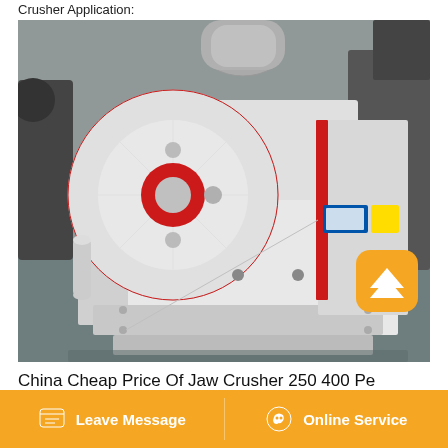Crusher Application:
[Figure (photo): Industrial jaw crusher machine with white body and red flywheel, photographed in a factory setting.]
China Cheap Price Of Jaw Crusher 250 400 Pe
Leave Message | Online Service